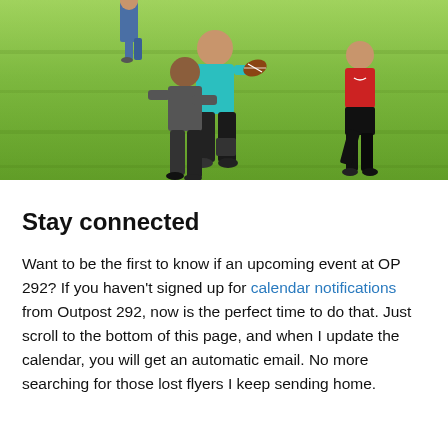[Figure (photo): Children playing football on a grass field. A child in a teal shirt is running with the ball while being tackled by another child. A third child in a red Jordan shirt runs in the background.]
Stay connected
Want to be the first to know if an upcoming event at OP 292? If you haven't signed up for calendar notifications from Outpost 292, now is the perfect time to do that. Just scroll to the bottom of this page, and when I update the calendar, you will get an automatic email. No more searching for those lost flyers I keep sending home.
And also on the agenda for the next meeting…